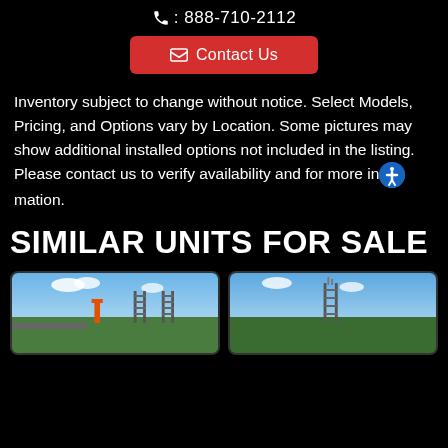☎: 888-710-2112
✉ Contact Us
Inventory subject to change without notice. Select Models, Pricing, and Options vary by Location. Some pictures may show additional installed options not included in the listing. Please contact us to verify availability and for more information.
SIMILAR UNITS FOR SALE
[Figure (photo): Outdoor scene showing utility or communication towers in a green field with blue sky and clouds]
[Figure (photo): Outdoor scene showing utility or communication towers against blue sky]